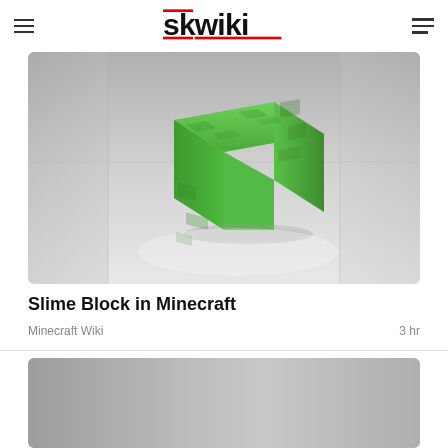skwiki
[Figure (photo): 3D rendered green slime block on a grey background, resembling a Minecraft slime block]
Slime Block in Minecraft
Minecraft Wiki    3 hr
[Figure (photo): Partially visible grey image at bottom of page]